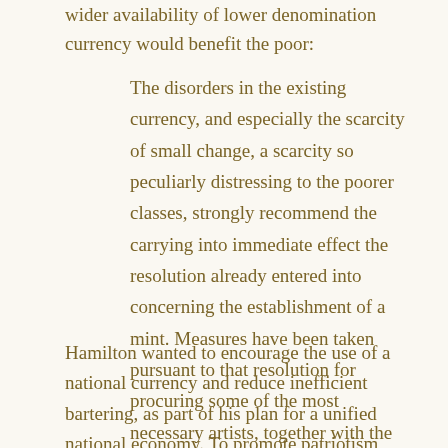wider availability of lower denomination currency would benefit the poor:
The disorders in the existing currency, and especially the scarcity of small change, a scarcity so peculiarly distressing to the poorer classes, strongly recommend the carrying into immediate effect the resolution already entered into concerning the establishment of a mint. Measures have been taken pursuant to that resolution for procuring some of the most necessary artists, together with the requisite apparatus.
Hamilton wanted to encourage the use of a national currency and reduce inefficient bartering, as part of his plan for a unified national economy. To promote patriotism, Hamilton proposed that National Coins feature presidential and